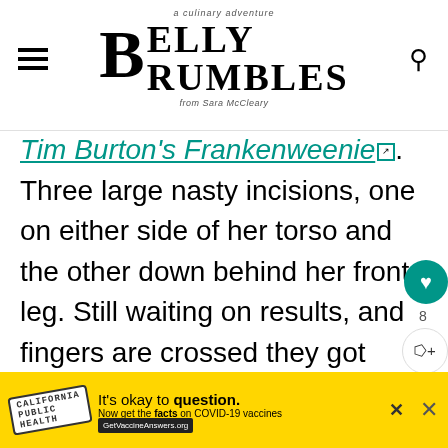Belly Rumbles — a culinary adventure, from Sara McCleary
Tim Burton's Frankenweenie. Three large nasty incisions, one on either side of her torso and the other down behind her front leg. Still waiting on results, and fingers are crossed they got them all. If you have been reading Belly Rumbles for a while, you will know that...
[Figure (other): COVID-19 vaccine ad banner: It's okay to question. Now get the facts on COVID-19 vaccines. GetVaccineAnswers.org]